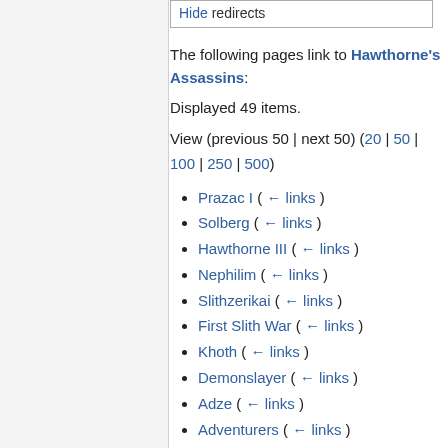Hide redirects
The following pages link to Hawthorne's Assassins:
Displayed 49 items.
View (previous 50 | next 50) (20 | 50 | 100 | 250 | 500)
Prazac I  ( ← links )
Solberg  ( ← links )
Hawthorne III  ( ← links )
Nephilim  ( ← links )
Slithzerikai  ( ← links )
First Slith War  ( ← links )
Khoth  ( ← links )
Demonslayer  ( ← links )
Adze  ( ← links )
Adventurers  ( ← links )
Nepharim  ( ← links )
Formello  ( ← links )